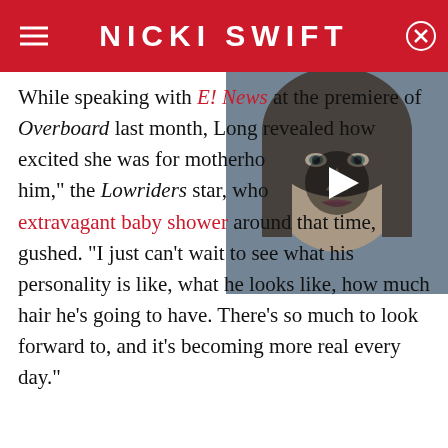NICKI SWIFT
[Figure (photo): Video thumbnail showing a woman with dark hair and makeup, with a play button overlay]
While speaking with E! News at the premiere of Overboard last month, Long revealed how excited she was for motherhood. "I just love him," the Lowriders star, who also threw an extravagant baby shower around that time, gushed. "I just can't wait to see what his personality is like, what he looks like, how much hair he's going to have. There's so much to look forward to, and it's becoming more real every day."